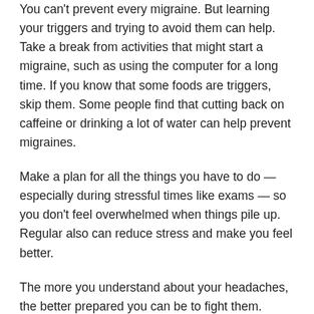You can't prevent every migraine. But learning your triggers and trying to avoid them can help. Take a break from activities that might start a migraine, such as using the computer for a long time. If you know that some foods are triggers, skip them. Some people find that cutting back on caffeine or drinking a lot of water can help prevent migraines.
Make a plan for all the things you have to do — especially during stressful times like exams — so you don't feel overwhelmed when things pile up. Regular also can reduce stress and make you feel better.
The more you understand about your headaches, the better prepared you can be to fight them.
What Is It Used For